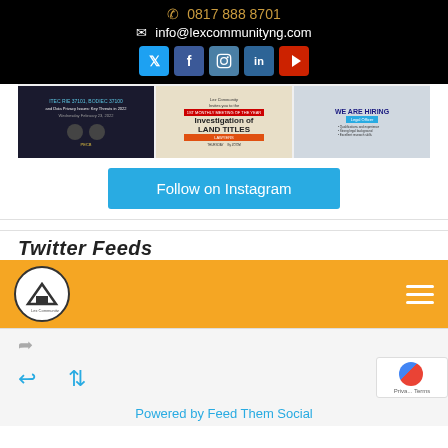0817 888 8701
info@lexcommunityng.com
[Figure (infographic): Social media icons: Twitter (blue), Facebook (dark blue), Instagram (blue-grey), LinkedIn (blue), YouTube (red)]
[Figure (screenshot): Three Instagram post thumbnails: left is dark/PCOB law event post, center is Investigation of Land Titles event flyer, right is We Are Hiring Legal Officer post]
Follow on Instagram
Twitter Feeds
[Figure (logo): Lex Community logo in orange navigation bar with hamburger menu icon]
[Figure (screenshot): Twitter feed item with share icon]
[Figure (screenshot): Twitter action row with reply, retweet icons and Google reCAPTCHA badge]
Powered by Feed Them Social